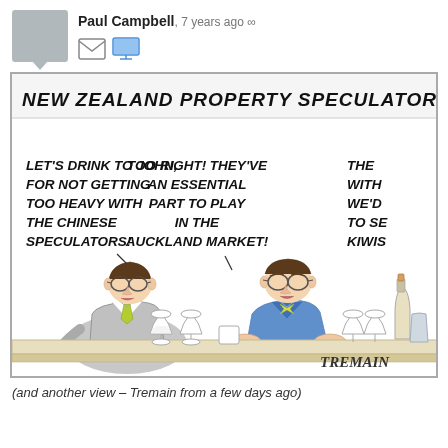Paul Campbell, 7 years ago ∞
[Figure (illustration): A political cartoon by Tremain showing two well-dressed men at a bar/restaurant table with wine glasses and champagne, speaking in speech bubbles. The cartoon headline reads: 'NEW ZEALAND PROPERTY SPECULATORS JOIN THE DE[BATE]'. Left figure speech bubble: 'LET'S DRINK TO JOHN, FOR NOT GETTING TOO HEAVY WITH THE CHINESE SPECULATORS!' Middle figure speech bubble: 'TOO RIGHT! THEY'VE AN ESSENTIAL PART TO PLAY IN THE AUCKLAND MARKET!' Right side (cut off): 'THE WITH WE'D TO SE KIWIS'. Signed TREMAIN at bottom right.]
(and another view – Tremain from a few days ago)